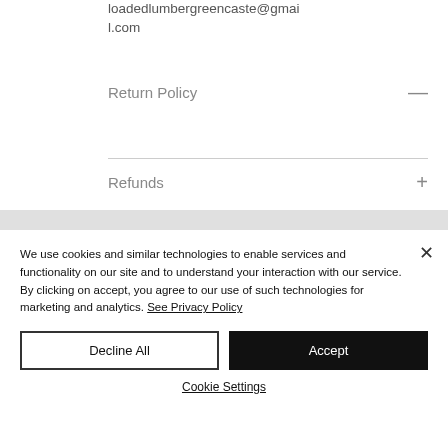loadedlumbergreencaste@gmail.com
Return Policy
Refunds
We use cookies and similar technologies to enable services and functionality on our site and to understand your interaction with our service. By clicking on accept, you agree to our use of such technologies for marketing and analytics. See Privacy Policy
Decline All
Accept
Cookie Settings